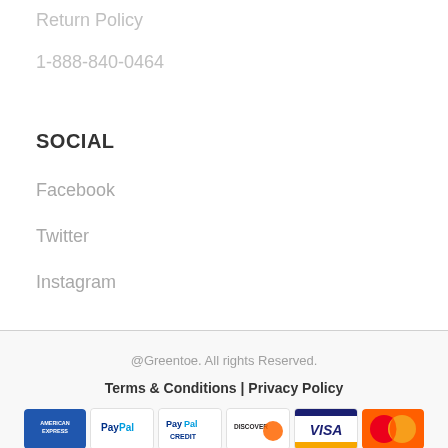Return Policy
1-888-840-0464
SOCIAL
Facebook
Twitter
Instagram
@Greentoe. All rights Reserved.
Terms & Conditions | Privacy Policy
[Figure (logo): Payment method logos: American Express, PayPal, PayPal Credit, Discover, Visa, MasterCard]